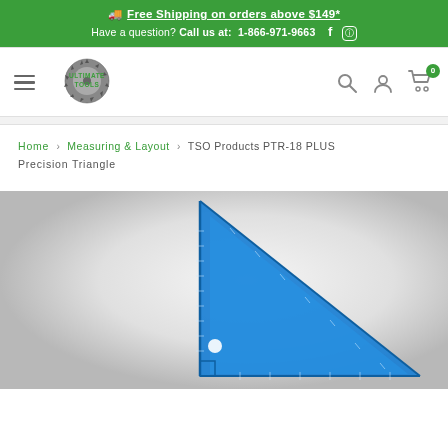Free Shipping on orders above $149* | Have a question? Call us at: 1-866-971-9663
[Figure (logo): Ultimate Tools logo with saw blade graphic and green bold text 'ULTIMATE TOOLS']
Home > Measuring & Layout > TSO Products PTR-18 PLUS Precision Triangle
[Figure (photo): Blue precision triangle/set square ruler on a light gray gradient background, showing measurement markings]